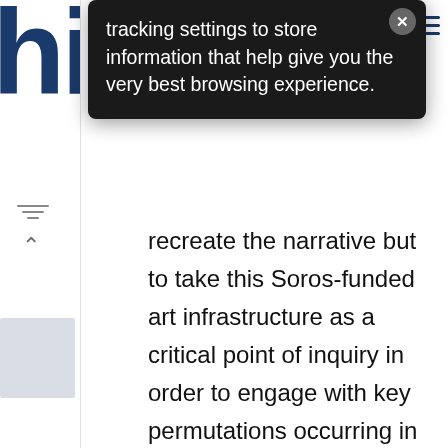[Figure (screenshot): Partial view of a website interface showing a dark tooltip/cookie consent popup overlaying a page with sidebar navigation and main article text]
tracking settings to store information that help give you the very best browsing experience.
recreate the narrative but to take this Soros-funded art infrastructure as a critical point of inquiry in order to engage with key permutations occurring in art during the transition to capitalism. The book argues that with the